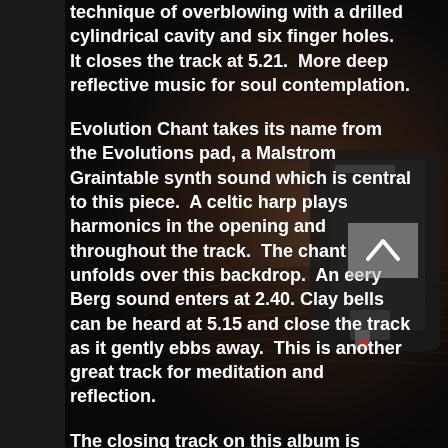[Figure (photo): Close-up photograph of a vinyl record player needle/stylus on a record, dark background with blurred record grooves visible. A dark vertical bar occupies the left side of the image.]
technique of overblowing with a drilled cylindrical cavity and six finger holes.  It closes the track at 5.21.  More deep reflective music for soul contemplation.
Evolution Chant takes its name from the Evolutions pad, a Malstrom Graintable synth sound which is central to this piece.  A celtic harp plays harmonics in the opening and throughout the track.  The chant unfolds over this backdrop.  An eery Berg sound enters at 2.40. Clay bells can be heard at 5.15 and close the track as it gently ebbs away.  This is another great track for meditation and reflection.
The closing track on this album is called Escape the Night and taps into my celtic Irish roots wich a pump organ being overlaid with a hypnotic cahon drum.  The Swedish Harjedalen pipe is the lead instrument here.  This is punctuated